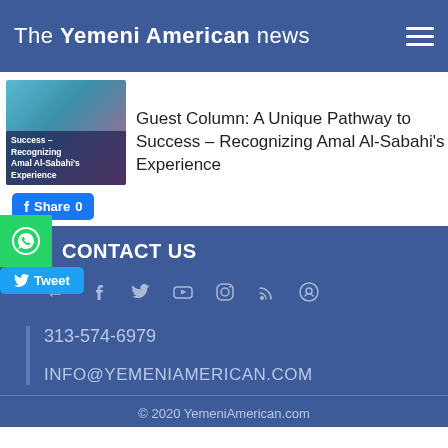The Yemeni American news
[Figure (photo): Thumbnail image of article with woman in white coat and text overlay: Success – Recognizing Amal Al-Sabahi's Experience]
Guest Column: A Unique Pathway to Success – Recognizing Amal Al-Sabahi's Experience
Share 0
CONTACT US
313-574-6979
INFO@YEMENIAMERICAN.COM
© 2020 YemeniAmerican.com